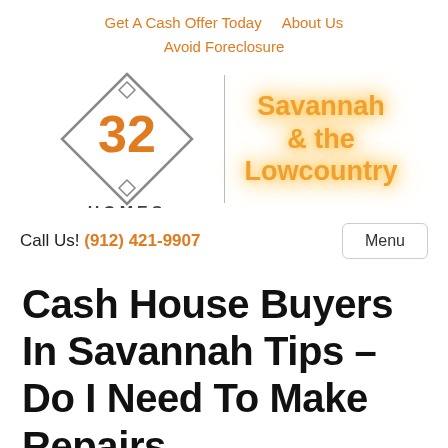Get A Cash Offer Today   About Us
Avoid Foreclosure
[Figure (logo): 32 Homes logo: a diamond shape with '32' in orange and 'HOMES' in dark gray below, beside a 'Savannah & the Lowcountry' orange glowing text]
Call Us! (912) 421-9907   Menu
Cash House Buyers In Savannah Tips – Do I Need To Make Repairs